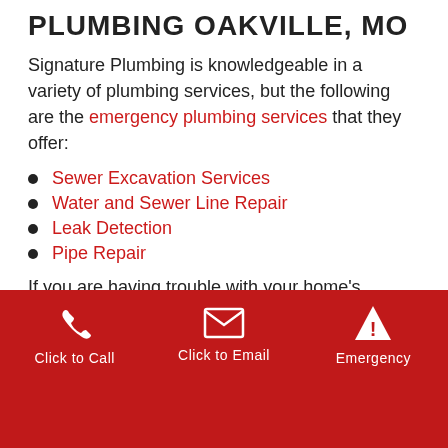PLUMBING OAKVILLE, MO
Signature Plumbing is knowledgeable in a variety of plumbing services, but the following are the emergency plumbing services that they offer:
Sewer Excavation Services
Water and Sewer Line Repair
Leak Detection
Pipe Repair
If you are having trouble with your home's plumbing and you aren't sure what to do, our emergency plumbers can have your problem repaired in no time.
Click to Call | Click to Email | Emergency